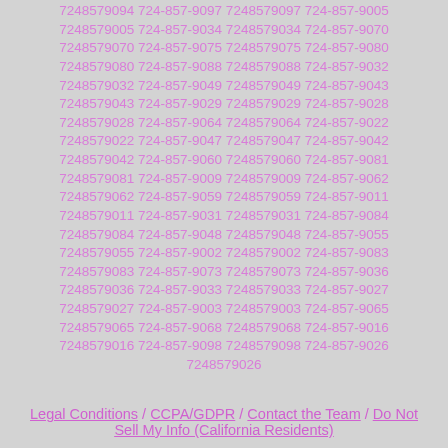7248579094 724-857-9097 7248579097 724-857-9005 7248579005 724-857-9034 7248579034 724-857-9070 7248579070 724-857-9075 7248579075 724-857-9080 7248579080 724-857-9088 7248579088 724-857-9032 7248579032 724-857-9049 7248579049 724-857-9043 7248579043 724-857-9029 7248579029 724-857-9028 7248579028 724-857-9064 7248579064 724-857-9022 7248579022 724-857-9047 7248579047 724-857-9042 7248579042 724-857-9060 7248579060 724-857-9081 7248579081 724-857-9009 7248579009 724-857-9062 7248579062 724-857-9059 7248579059 724-857-9011 7248579011 724-857-9031 7248579031 724-857-9084 7248579084 724-857-9048 7248579048 724-857-9055 7248579055 724-857-9002 7248579002 724-857-9083 7248579083 724-857-9073 7248579073 724-857-9036 7248579036 724-857-9033 7248579033 724-857-9027 7248579027 724-857-9003 7248579003 724-857-9065 7248579065 724-857-9068 7248579068 724-857-9016 7248579016 724-857-9098 7248579098 724-857-9026 7248579026
Legal Conditions / CCPA/GDPR / Contact the Team / Do Not Sell My Info (California Residents)